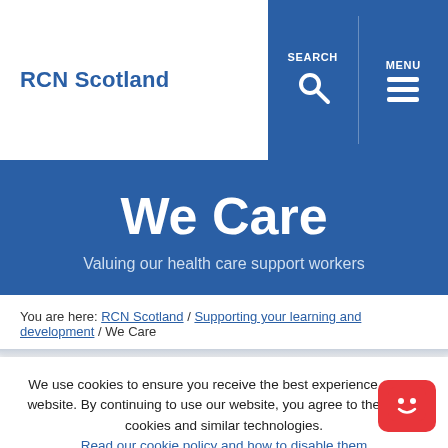RCN Scotland
We Care
Valuing our health care support workers
You are here: RCN Scotland / Supporting your learning and development / We Care
We use cookies to ensure you receive the best experience on our website. By continuing to use our website, you agree to the use of cookies and similar technologies. Read our cookie policy and how to disable them
I AGREE